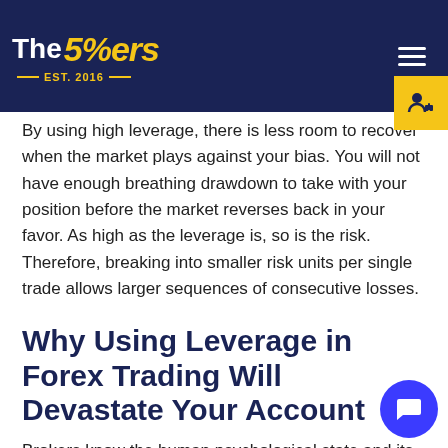The 5%ers — EST. 2016
By using high leverage, there is less room to recover when the market plays against your bias. You will not have enough breathing drawdown to take with your position before the market reverses back in your favor. As high as the leverage is, so is the risk. Therefore, breaking into smaller risk units per single trade allows larger sequences of consecutive losses.
Why Using Leverage in Forex Trading Will Devastate Your Account
Brokers know the human psychological state and its appetite for temptations and thrills. It's like giving a year-old child a 1,000cc motorbike without a helmet — it only takes one fall to be seriously hurt.